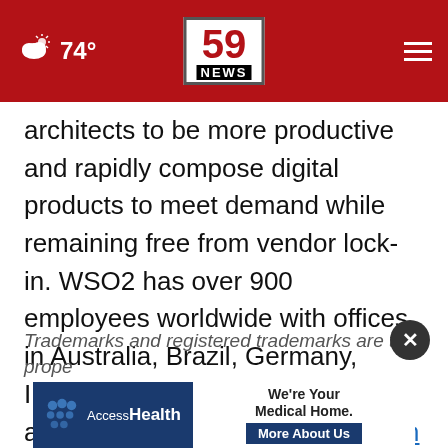☁ 74° | 59 NEWS
architects to be more productive and rapidly compose digital products to meet demand while remaining free from vendor lock-in. WSO2 has over 900 employees worldwide with offices in Australia, Brazil, Germany, India, Sri Lanka, the UAE, the UK, and the US. Visit https://wso2.com to learn more. Follow WSO2 on LinkedIn and Twitter.
Trademarks and registered trademarks are the prope...
[Figure (other): AccessHealth advertisement banner: 'We're Your Medical Home. More About Us']